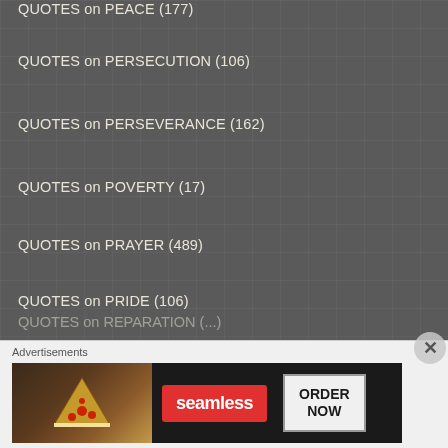QUOTES on PEACE (177)
QUOTES on PERSECUTION (106)
QUOTES on PERSEVERANCE (162)
QUOTES on POVERTY (17)
QUOTES on PRAYER (489)
QUOTES on PRIDE (106)
QUOTES on PRIESTS, the PRIESTHOOD and CONSECRATED LIFE (23)
QUOTES on PURITY (43)
QUOTES on PURITY of INTENTION (20)
QUOTES on REASON/INTELLECT (9)
QUOTES on REPARATION (...)
[Figure (screenshot): Advertisement banner for Seamless food delivery service showing pizza image on left, Seamless red logo in center, and ORDER NOW button on right, with Advertisements label above]
[Figure (other): Close button (X) overlay in bottom right of content area]